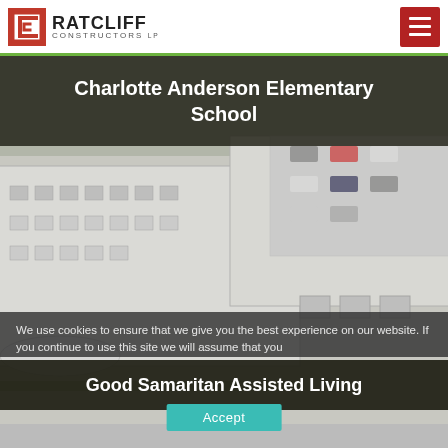[Figure (logo): Ratcliff Constructors LP logo with red bracket/C icon]
Charlotte Anderson Elementary School
[Figure (photo): Aerial view of Charlotte Anderson Elementary School building — large white multi-story structure with flat roof, parking lot visible in upper right]
We use cookies to ensure that we give you the best experience on our website. If you continue to use this site we will assume that you
Good Samaritan Assisted Living
Accept